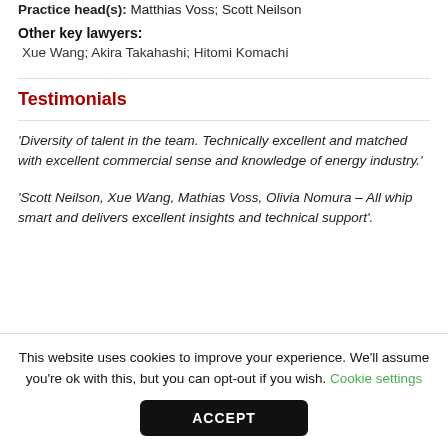Practice head(s): Matthias Voss; Scott Neilson
Other key lawyers:
Xue Wang; Akira Takahashi; Hitomi Komachi
Testimonials
'Diversity of talent in the team. Technically excellent and matched with excellent commercial sense and knowledge of energy industry.'
'Scott Neilson, Xue Wang, Mathias Voss, Olivia Nomura – All whip smart and delivers excellent insights and technical support'.
This website uses cookies to improve your experience. We'll assume you're ok with this, but you can opt-out if you wish. Cookie settings
ACCEPT